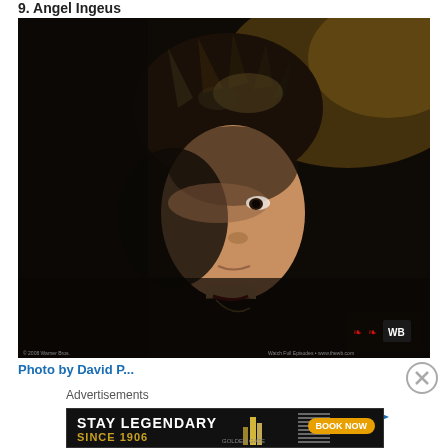9. Angel Ingeus
[Figure (photo): Dark dramatic portrait photo of a young man with spiked dark hair, wearing a dark shirt with a chain necklace, looking downward. WB network logo and angel wings logo visible in bottom right corner. Copyright 2008 Warner Bros. watermark at bottom left.]
Photo by David P...
Advertisements
[Figure (other): Advertisement banner: STAY LEGENDARY SINCE 1906 - Golden Gate Hotel. Shows text in white and gold on black background with a Book Now button.]